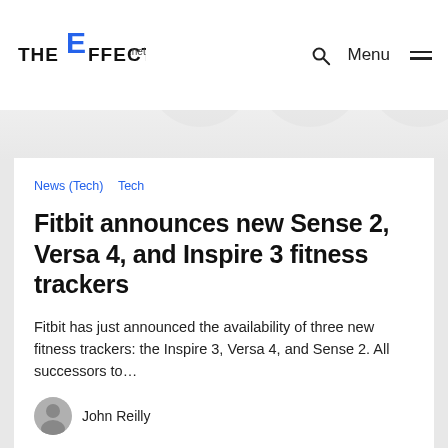THE EFFECT .net | Menu
News (Tech)  Tech
Fitbit announces new Sense 2, Versa 4, and Inspire 3 fitness trackers
Fitbit has just announced the availability of three new fitness trackers: the Inspire 3, Versa 4, and Sense 2. All successors to…
John Reilly